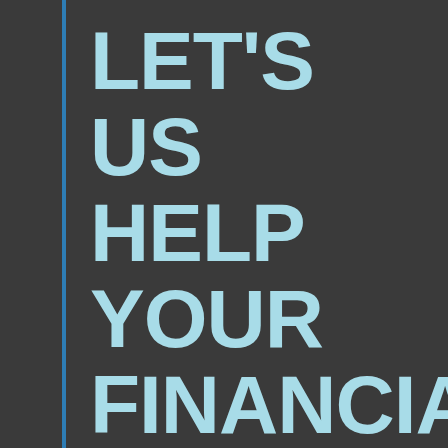LET'S US HELP YOUR FINANCIALS REACH NEW